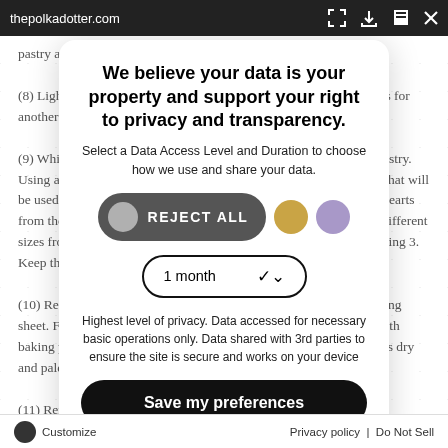thepolkadotter.com
pastry at the height of the tin. (8) Lightly prick the surface of pastry with a fork. Chill pastry in tins for another 15 minutes in the fridge. (9) While the pastry case chills, roll out the remaining third of the pastry. Using a open sugar skull cookie cutter, pastry cutter, cut out shapes that will be used to cover 3 pies. Using a heart-shaped cookie cutter, cut out hearts from the large scrap of dough, cut round heads and other shapes of different sizes from the remaining pastry that will be used to cover the remaining 3. Keep these shapes flat in the fridge for use later. (10) Remove one of your pies from fridge, place on small clean baking sheet. Fill with uncooked rice, or dried beans or chickpeas. Cover with baking paper and beads and bake for another 5 minutes until pastry is dry and pale golden. (11) Remove from the oven and leave to cool in pie tins.
We believe your data is your property and support your right to privacy and transparency.
Select a Data Access Level and Duration to choose how we use and share your data.
[Figure (other): Reject All button with grey circle toggle, gold circle and lavender circle icons]
[Figure (other): Dropdown selector showing '1 month' with chevron]
Highest level of privacy. Data accessed for necessary basic operations only. Data shared with 3rd parties to ensure the site is secure and works on your device
Save my preferences
Customize    Privacy policy | Do Not Sell